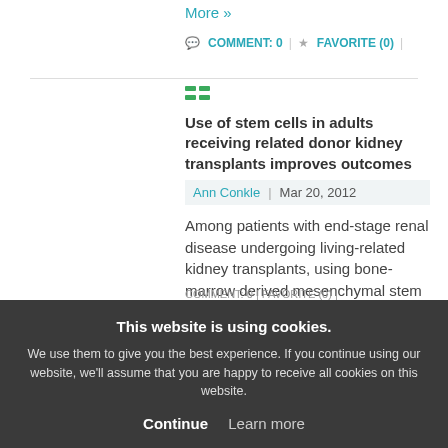More »
COMMENT: 0 | FAVORITE (0) |
Use of stem cells in adults receiving related donor kidney transplants improves outcomes
Ann Conkle | Mar 20, 2012
Among patients with end-stage renal disease undergoing living-related kidney transplants, using bone-marrow derived mesenchymal stem cells (cells that can...
Read More »
COMMENT: 0 | FAVORITE (0) |
Medical N... Top five trends for 3/5-3/9
Ann Conkle ...
This website is using cookies. We use them to give you the best experience. If you continue using our website, we'll assume that you are happy to receive all cookies on this website. Continue | Learn more